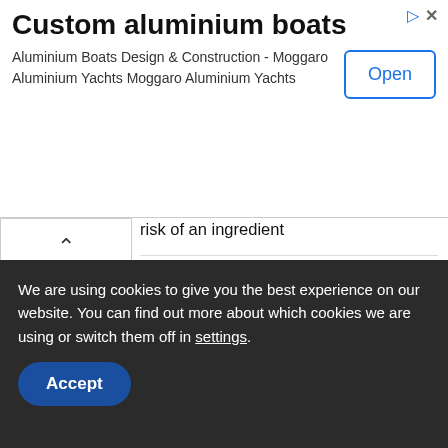[Figure (other): Advertisement banner for custom aluminium boats with title, description text, and Open button]
risk of an ingredient
Dengue in the Philippines 2022
Laos nears 18,000 dengue cases, Substantially higher than previous years
Nigeria tops countries with measles in first half of 2022: WHO numbers
Panama dengue and hantavirus cases 7 months into 2022
We are using cookies to give you the best experience on our website. You can find out more about which cookies we are using or switch them off in settings.